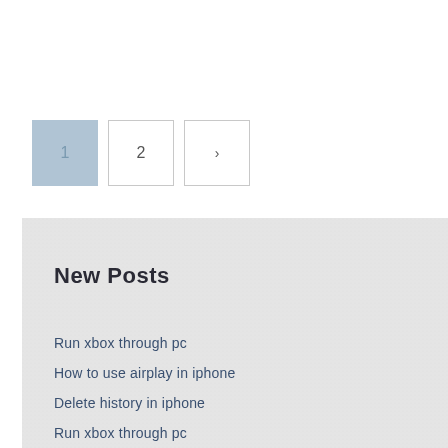1
2
>
New Posts
Run xbox through pc
How to use airplay in iphone
Delete history in iphone
Run xbox through pc